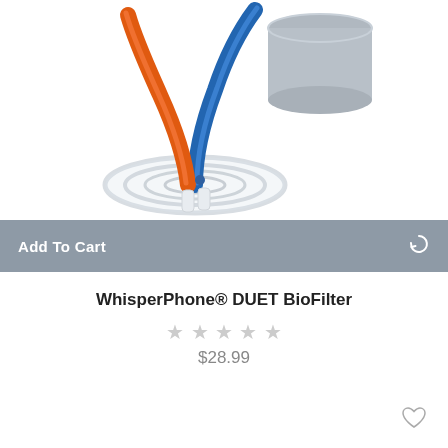[Figure (photo): Product photo of WhisperPhone DUET BioFilter showing orange and blue curved tubes mounted on a clear spiral base, with a gray cylindrical filter component visible in the upper right]
Add To Cart
WhisperPhone® DUET BioFilter
★★★★★ (empty stars rating)
$28.99